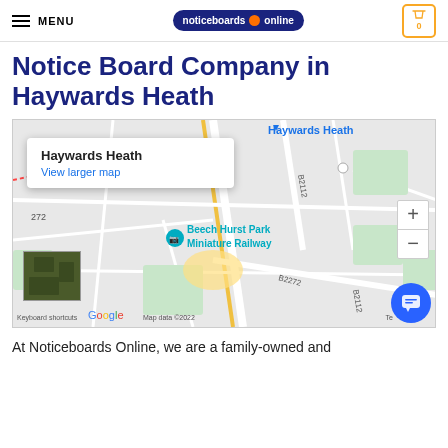MENU | noticeboards online | 0
Notice Board Company in Haywards Heath
[Figure (map): Google Maps showing Haywards Heath area with tooltip popup displaying 'Haywards Heath' and 'View larger map' link. Map shows roads B2112, B2272, and Beech Hurst Park Miniature Railway marker. Includes zoom controls, satellite thumbnail, and Google branding with 'Keyboard shortcuts | Map data ©2022'.]
At Noticeboards Online, we are a family-owned and